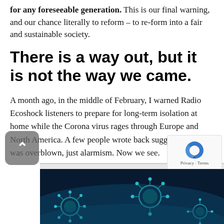for any foreseeable generation. This is our final warning, and our chance literally to reform – to re-form into a fair and sustainable society.
There is a way out, but it is not the way we came.
A month ago, in the middle of February, I warned Radio Ecoshock listeners to prepare for long-term isolation at home while the Corona virus rages through Europe and North America. A few people wrote back suggesting that was overblown, just alarmism. Now we see.
[Figure (photo): Dark blue-toned image of virus particles or microorganisms at the bottom of the page]